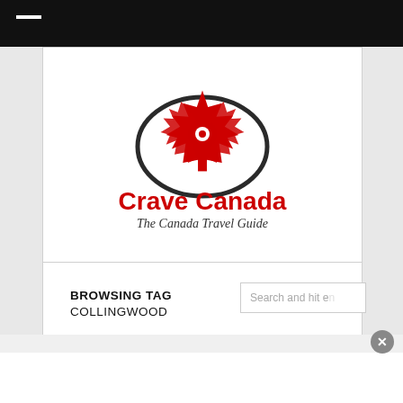[Figure (logo): Crave Canada logo with red maple leaf and location pin icon, text 'Crave Canada' in red bold font, subtitle 'The Canada Travel Guide' in dark italic font]
BROWSING TAG
COLLINGWOOD